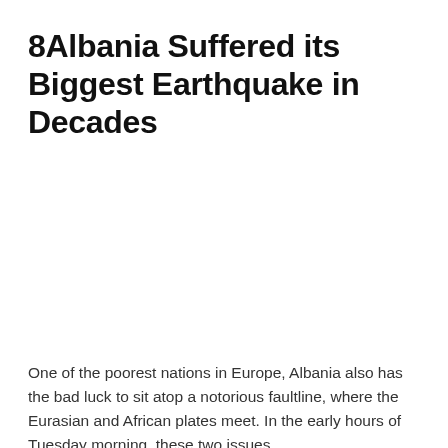8Albania Suffered its Biggest Earthquake in Decades
One of the poorest nations in Europe, Albania also has the bad luck to sit atop a notorious faultline, where the Eurasian and African plates meet. In the early hours of Tuesday morning, these two issues